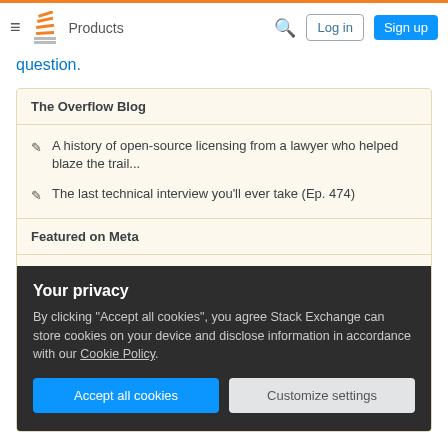≡  [Stack Overflow logo]  Products  🔍  Log in  Sign up
question.
The Overflow Blog
A history of open-source licensing from a lawyer who helped blaze the trail...
The last technical interview you'll ever take (Ep. 474)
Featured on Meta
Planned maintenance scheduled for Tuesday, August 23, 2022 at 00:00-03:00 AM
Your privacy
By clicking "Accept all cookies", you agree Stack Exchange can store cookies on your device and disclose information in accordance with our Cookie Policy.
Accept all cookies   Customize settings